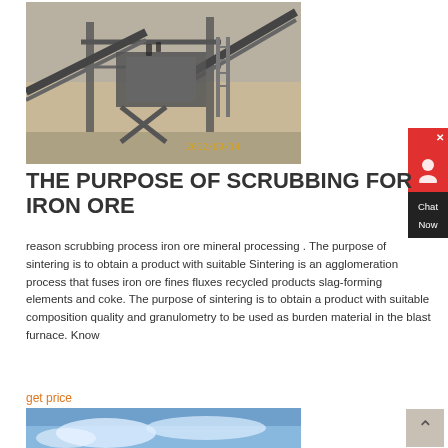[Figure (photo): Industrial mining/crushing facility with conveyor belts and machinery, dated 2012/09/14]
THE PURPOSE OF SCRUBBING FOR IRON ORE
reason scrubbing process iron ore mineral processing . The purpose of sintering is to obtain a product with suitable Sintering is an agglomeration process that fuses iron ore fines fluxes recycled products slag-forming elements and coke. The purpose of sintering is to obtain a product with suitable composition quality and granulometry to be used as burden material in the blast furnace. Know
get price
[Figure (photo): Blue sky with clouds, partial view at bottom of page]